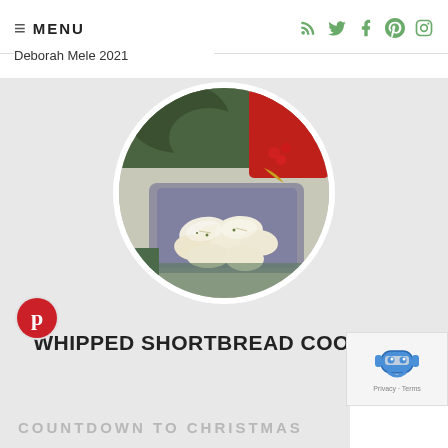MENU
Deborah Mele 2021
[Figure (photo): Circular photo of whipped shortbread cookies on a decorative plate, with Christmas decorations (pine needles, red berries, ornaments) in the background. Photo has a circular crop with white border.]
[Figure (logo): Pinterest circular red and white logo button on left side of card]
WHIPPED SHORTBREAD COOKIES -
COUNTDOWN TO CHRISTMAS
[Figure (other): reCAPTCHA widget with blue robot icon and Privacy + Terms text in bottom right corner]